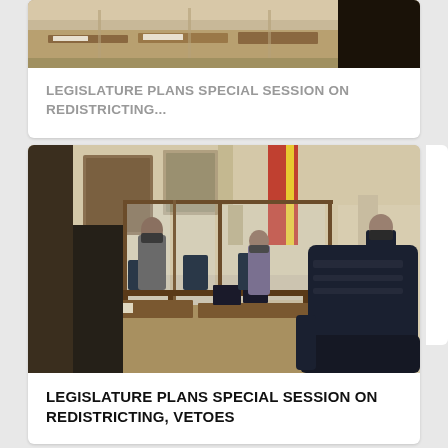[Figure (photo): Partial view of a legislative chamber interior showing wooden desks and furniture]
LEGISLATURE PLANS SPECIAL SESSION ON REDISTRICTING...
[Figure (photo): Interior of a legislative chamber with plexiglass dividers between desks, lawmakers wearing masks, a large leather chair in foreground, flags and ornate stone walls in background]
LEGISLATURE PLANS SPECIAL SESSION ON REDISTRICTING, VETOES